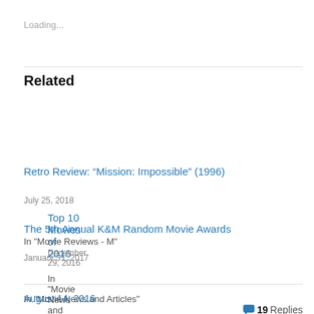Loading...
Related
Top 10 Movies of 2016
December 29, 2016
In "Movie News and Articles"
Retro Review: “Mission: Impossible” (1996)
July 25, 2018
In "Movie Reviews - M"
The 5th Annual K&M Random Movie Awards
January 31, 2017
In "Movie News and Articles"
August 14, 2016   19 Replies